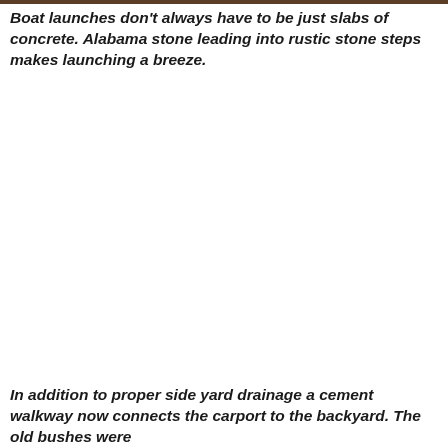Boat launches don't always have to be just slabs of concrete. Alabama stone leading into rustic stone steps makes launching a breeze.
[Figure (photo): Photo of a stone boat launch with Alabama stone leading into rustic stone steps near water — image area appears mostly white/blank in this page view.]
In addition to proper side yard drainage a cement walkway now connects the carport to the backyard. The old bushes were